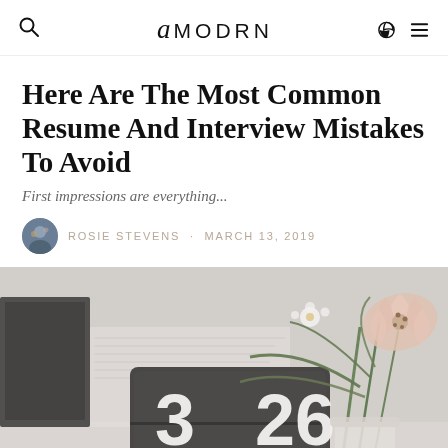amodrn
Here Are The Most Common Resume And Interview Mistakes To Avoid
First impressions are everything...
Rosie Stevens · March 13, 2019
[Figure (photo): A flip clock showing 3:26, with flowers (lilies and greenery) in the background on a desk, light grey tones]